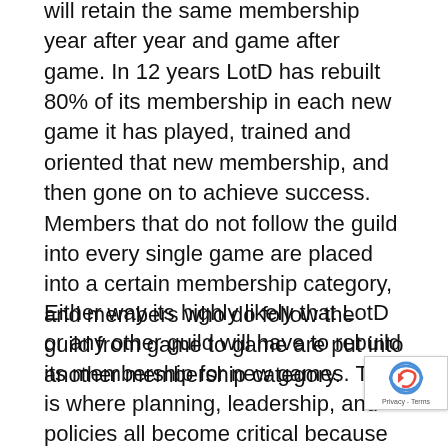will retain the same membership year after year and game after game. In 12 years LotD has rebuilt 80% of its membership in each new game it has played, trained and oriented that new membership, and then gone on to achieve success. Members that do not follow the guild into every single game are placed into a certain membership category, and members who do follow the guild from game to game are put into another membership category.
Either way its highly likely that LotD or any other guild will have to rebuild its membership for new games. This is where planning, leadership, and policies all become critical because new members have to be recruited, trained and oriented, and brought up to a certain level of performance usually within 60-90 days. If you are still struggling with new membership training and orientation issues after the 90-day point, the odds of your success in that game go down considerably and it shows in your